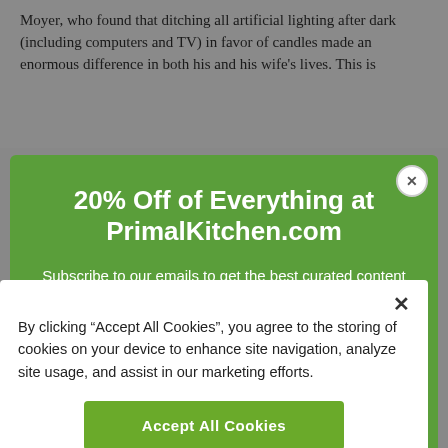Moyer, who found that ditching all artificial lighting after dark (including computers and TV) in favor of candles made an enormous difference in both his and his wife's lives. This is
20% Off of Everything at PrimalKitchen.com
Subscribe to our emails to get the best curated content delivered to your inbox, special promos, and exclusive content you can't read anywhere else.
By clicking “Accept All Cookies”, you agree to the storing of cookies on your device to enhance site navigation, analyze site usage, and assist in our marketing efforts.
Accept All Cookies
Cookies Settings